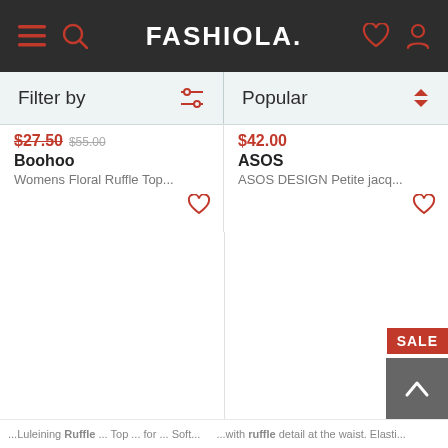FASHIOLA.
Filter by
Popular
$27.50 $55.00 Boohoo Womens Floral Ruffle Top...
$42.00 ASOS ASOS DESIGN Petite jacq...
[Figure (screenshot): Empty product image area left column]
[Figure (screenshot): Empty product image area right column with SALE badge]
...Luleining Ruffle ... Top ... for ... Soft...
...with ruffle detail at the waist. Elasti...